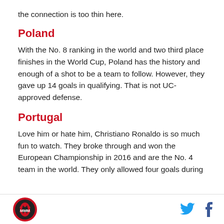the connection is too thin here.
Poland
With the No. 8 ranking in the world and two third place finishes in the World Cup, Poland has the history and enough of a shot to be a team to follow. However, they gave up 14 goals in qualifying. That is not UC-approved defense.
Portugal
Love him or hate him, Christiano Ronaldo is so much fun to watch. They broke through and won the European Championship in 2016 and are the No. 4 team in the world. They only allowed four goals during